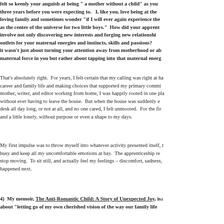felt so keenly your anguish at being " a mother without a child" as you three years before you were expecting to.   I, like you, love being at the loving family and sometimes wonder "if I will ever again experience the as the center of the universe for two little boys."  How did your apprent involve not only discovering new interests and forging new relationshi outlets for your maternal energies and instincts, skills and passions? it wasn't just about turning your attention away from motherhood or ab maternal force in you but rather about tapping into that maternal energ
That's absolutely right.  For years, I felt certain that my calling was right at ha career and family life and making choices that supported my primary commi mother, writer, and editor working from home, I was happily rooted in one pla without ever having to leave the house.  But when the house was suddenly e desk all day long, or not at all, and no one cared, I felt unmoored.  For the fir and a little lonely, without purpose or even a shape to my days.
My first impulse was to throw myself into whatever activity presented itself, t busy and keep all my uncomfortable emotions at bay.  The apprenticeship re stop moving.  To sit still, and actually feel my feelings – discomfort, sadness, happened next.
4)  My memoir, The Anti-Romantic Child: A Story of Unexpected Joy, is a about "letting go of my own cherished vision of the way our family life